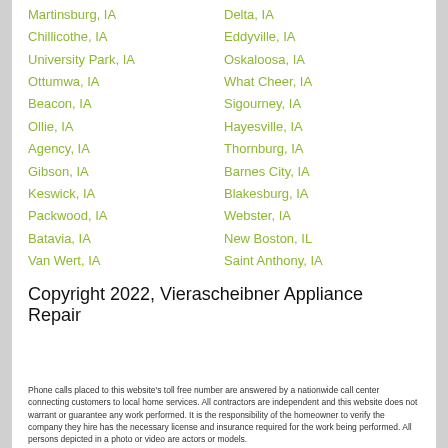Martinsburg, IA | Delta, IA | Chillicothe, IA | Eddyville, IA | University Park, IA | Oskaloosa, IA | Ottumwa, IA | What Cheer, IA | Beacon, IA | Sigourney, IA | Ollie, IA | Hayesville, IA | Agency, IA | Thornburg, IA | Gibson, IA | Barnes City, IA | Keswick, IA | Blakesburg, IA | Packwood, IA | Webster, IA | Batavia, IA | New Boston, IL | Van Wert, IA | Saint Anthony, IA | Patterson, IA | Leon, IA
Copyright 2022, Vierascheibner Appliance Repair
Phone calls placed to this website's toll free number are answered by a nationwide call center connecting customers to local home services. All contractors are independent and this website does not warrant or guarantee any work performed. It is the responsibility of the homeowner to verify the company they hire has the necessary license and insurance required for the work being performed. All persons depicted in a photo or video are actors or models.